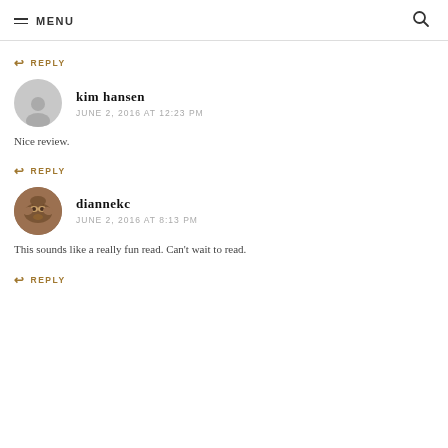MENU
↩ REPLY
kim hansen
JUNE 2, 2016 AT 12:23 PM
Nice review.
↩ REPLY
diannekc
JUNE 2, 2016 AT 8:13 PM
This sounds like a really fun read. Can't wait to read.
↩ REPLY